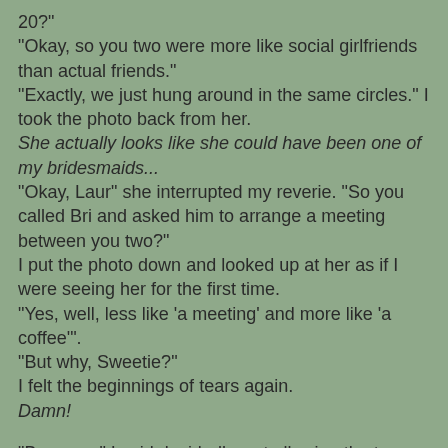20?"
"Okay, so you two were more like social girlfriends than actual friends."
"Exactly, we just hung around in the same circles." I took the photo back from her.
She actually looks like she could have been one of my bridesmaids...
"Okay, Laur" she interrupted my reverie. "So you called Bri and asked him to arrange a meeting between you two?"
I put the photo down and looked up at her as if I were seeing her for the first time.
"Yes, well, less like 'a meeting' and more like 'a coffee'".
"But why, Sweetie?"
I felt the beginnings of tears again.
Damn!
"Because," I said decidedly, not allowing the tears to interrupt me. "He wants her to be with him at Miles's bar mitzvah."
"Really Sweetie? That's insane!! How long have you been divorced? Isn't it too soon!?"
"Yes - and thank you!! I think so. I think it's way too soon. But